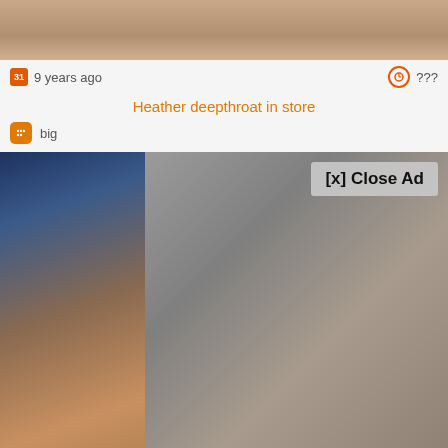[Figure (screenshot): Top portion of a video thumbnail]
9 years ago
???
Heather deepthroat in store
big
[Figure (screenshot): Video player with overlaid ad showing [x] Close Ad button]
[x] Close Ad